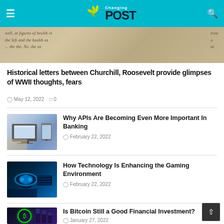Changing POST
[Figure (photo): Historical handwritten letters, sepia-toned, cursive script visible]
Historical letters between Churchill, Roosevelt provide glimpses of WWII thoughts, fears
May 12, 2022   0
[Figure (photo): Person using laptop and smartphone for banking]
Why APIs Are Becoming Even More Important In Banking
February 22, 2022
[Figure (photo): Person wearing VR headset in gaming environment]
How Technology Is Enhancing the Gaming Environment
February 22, 2022
[Figure (photo): Bitcoin symbol glowing in dark background]
Is Bitcoin Still a Good Financial Investment?
January 27, 2022